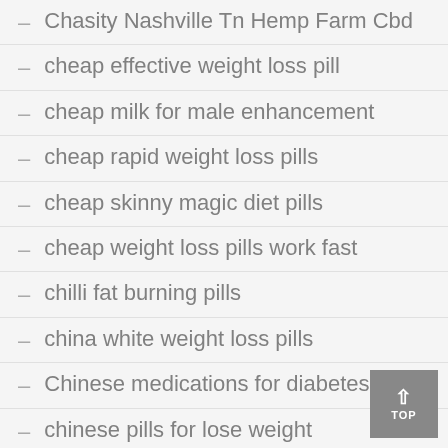Chasity Nashville Tn Hemp Farm Cbd
cheap effective weight loss pill
cheap milk for male enhancement
cheap rapid weight loss pills
cheap skinny magic diet pills
cheap weight loss pills work fast
chilli fat burning pills
china white weight loss pills
Chinese medications for diabetes
chinese pills for lose weight
chinese pills for losing weight